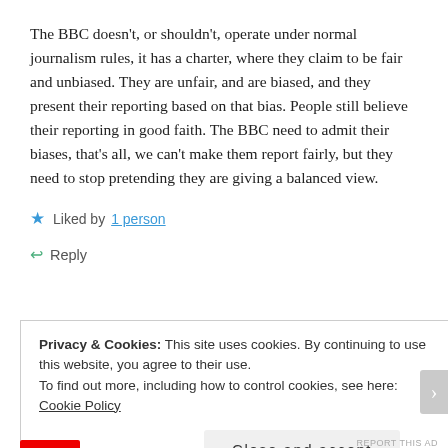The BBC doesn't, or shouldn't, operate under normal journalism rules, it has a charter, where they claim to be fair and unbiased. They are unfair, and are biased, and they present their reporting based on that bias. People still believe their reporting in good faith. The BBC need to admit their biases, that's all, we can't make them report fairly, but they need to stop pretending they are giving a balanced view.
★ Liked by 1 person
↩ Reply
Privacy & Cookies: This site uses cookies. By continuing to use this website, you agree to their use.
To find out more, including how to control cookies, see here: Cookie Policy
Close and accept